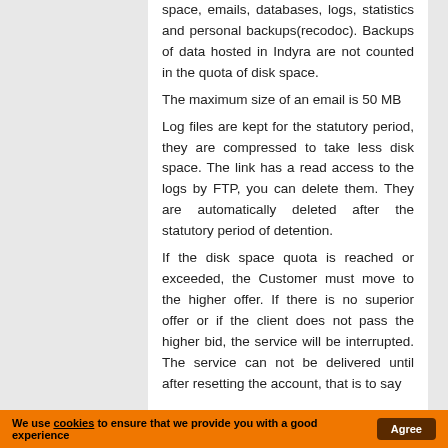space, emails, databases, logs, statistics and personal backups(recodoc). Backups of data hosted in Indyra are not counted in the quota of disk space.
The maximum size of an email is 50 MB
Log files are kept for the statutory period, they are compressed to take less disk space. The link has a read access to the logs by FTP, you can delete them. They are automatically deleted after the statutory period of detention.
If the disk space quota is reached or exceeded, the Customer must move to the higher offer. If there is no superior offer or if the client does not pass the higher bid, the service will be interrupted. The service can not be delivered until after resetting the account, that is to say
We use cookies to ensure that we provide you with a good experience  Agree